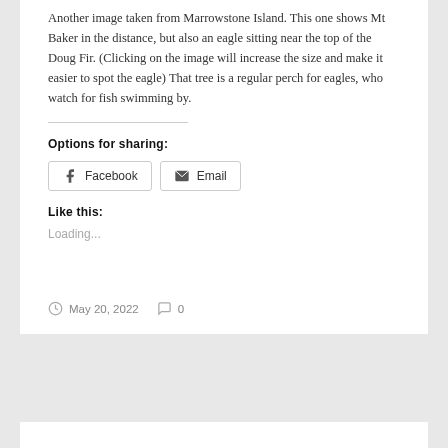Another image taken from Marrowstone Island. This one shows Mt Baker in the distance, but also an eagle sitting near the top of the Doug Fir. (Clicking on the image will increase the size and make it easier to spot the eagle) That tree is a regular perch for eagles, who watch for fish swimming by.
Options for sharing:
Facebook  Email
Like this:
Loading...
May 20, 2022  0